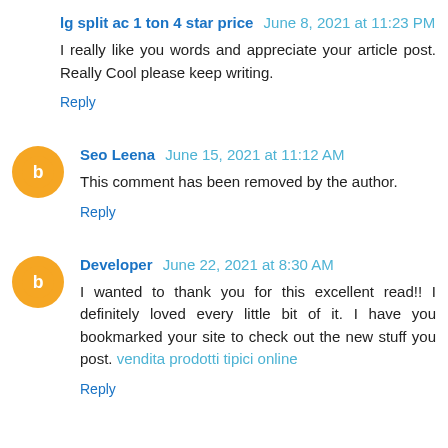lg split ac 1 ton 4 star price  June 8, 2021 at 11:23 PM
I really like you words and appreciate your article post. Really Cool please keep writing.
Reply
Seo Leena  June 15, 2021 at 11:12 AM
This comment has been removed by the author.
Reply
Developer  June 22, 2021 at 8:30 AM
I wanted to thank you for this excellent read!! I definitely loved every little bit of it. I have you bookmarked your site to check out the new stuff you post. vendita prodotti tipici online
Reply